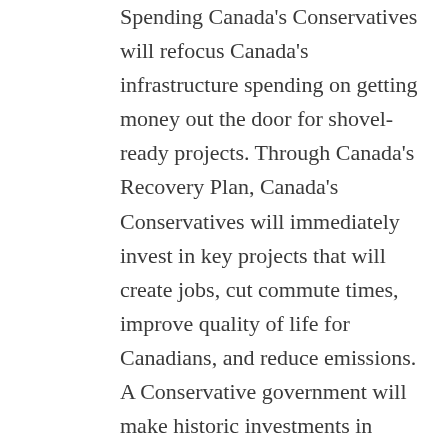Spending Canada's Conservatives will refocus Canada's infrastructure spending on getting money out the door for shovel-ready projects. Through Canada's Recovery Plan, Canada's Conservatives will immediately invest in key projects that will create jobs, cut commute times, improve quality of life for Canadians, and reduce emissions. A Conservative government will make historic investments in nationally significant projects across the country, such as the SkyTrain extension to Langley (British Columbia), Ontario's